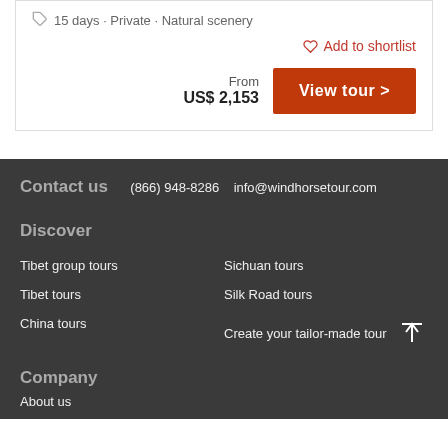15 days · Private · Natural scenery
Add to shortlist
From US$ 2,153
View tour >
Contact us
(866) 948-8286   info@windhorsetour.com
Discover
Tibet group tours
Sichuan tours
Tibet tours
Silk Road tours
China tours
Create your tailor-made tour
Company
About us